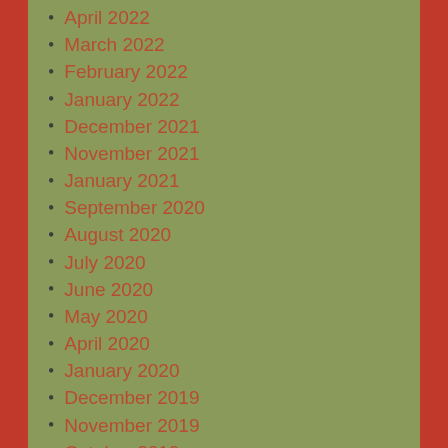April 2022
March 2022
February 2022
January 2022
December 2021
November 2021
January 2021
September 2020
August 2020
July 2020
June 2020
May 2020
April 2020
January 2020
December 2019
November 2019
October 2019
September 2019
August 2019
July 2019
June 2019
May 2019
April 2019